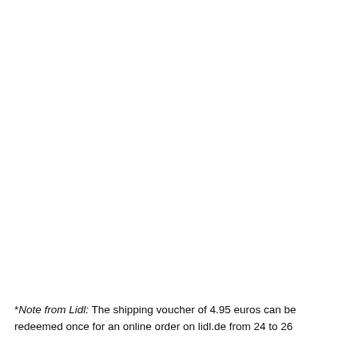*Note from Lidl: The shipping voucher of 4.95 euros can be redeemed once for an online order on lidl.de from 24 to 26